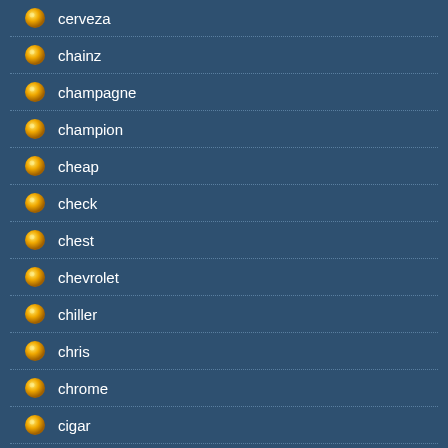cerveza
chainz
champagne
champion
cheap
check
chest
chevrolet
chiller
chris
chrome
cigar
clash
classic
clean